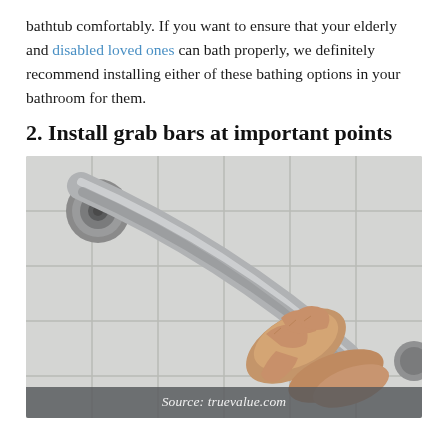bathtub comfortably. If you want to ensure that your elderly and disabled loved ones can bath properly, we definitely recommend installing either of these bathing options in your bathroom for them.
2. Install grab bars at important points
[Figure (photo): An elderly person's hand gripping a stainless steel grab bar mounted on a white tiled bathroom wall.]
Source: truevalue.com